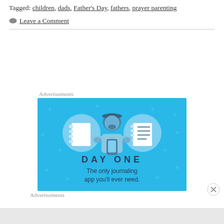Tagged: children, dads, Father's Day, fathers, prayer parenting
Leave a Comment
Advertisements
[Figure (illustration): Day One journaling app advertisement banner on a blue background. Shows three circular icons with notebook and list illustrations, a person holding a phone, and the text 'DAY ONE - The only journaling app you'll ever need.']
Advertisements